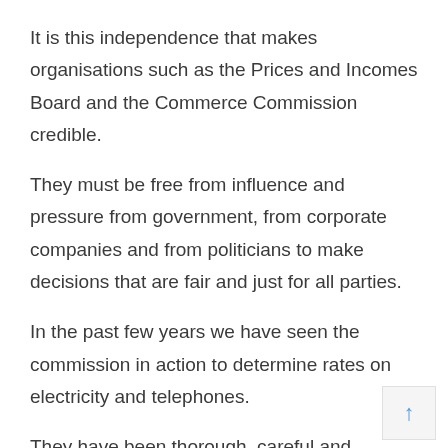It is this independence that makes organisations such as the Prices and Incomes Board and the Commerce Commission credible.
They must be free from influence and pressure from government, from corporate companies and from politicians to make decisions that are fair and just for all parties.
In the past few years we have seen the commission in action to determine rates on electricity and telephones.
They have been thorough, careful and probing in their determination of price formulas to ensure th the company and the industry continue to survive